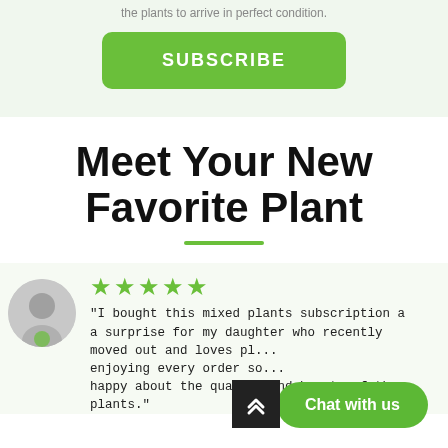the plants to arrive in perfect condition.
SUBSCRIBE
Meet Your New Favorite Plant
★★★★★
"I bought this mixed plants subscription a a surprise for my daughter who recently moved out and loves pl... enjoying every order so... happy about the quality and beauty of the plants."
Chat with us